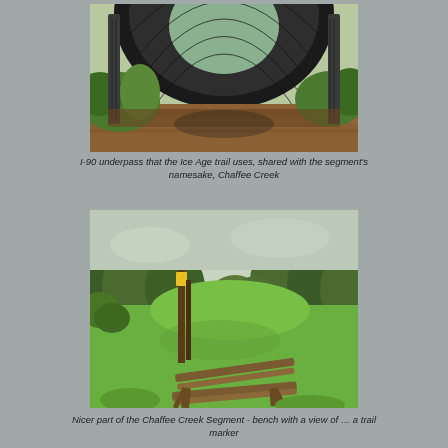[Figure (photo): View from outside a large corrugated metal culvert/tunnel underpass beneath I-90, showing a creek (Chaffee Creek) running through it with muddy brown water, surrounded by green grasses and vegetation.]
I-90 underpass that the Ice Age trail uses, shared with the segment's namesake, Chaffee Creek
[Figure (photo): A green grassy open trail area with trees in the background, a wooden trail marker post with a yellow blaze visible, and a rustic wooden bench in the foreground. Overcast sky.]
Nicer part of the Chaffee Creek Segment - bench with a view of … a trail marker